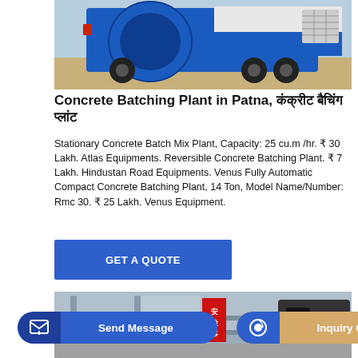[Figure (photo): Blue and white concrete batching plant / transit mixer truck viewed from front-side, in a construction site with sand/dirt in background.]
Concrete Batching Plant in Patna, कंक्रीट बैचिंग प्लांट
Stationary Concrete Batch Mix Plant, Capacity: 25 cu.m /hr. ₹ 30 Lakh. Atlas Equipments. Reversible Concrete Batching Plant. ₹ 7 Lakh. Hindustan Road Equipments. Venus Fully Automatic Compact Concrete Batching Plant, 14 Ton, Model Name/Number: Rmc 30. ₹ 25 Lakh. Venus Equipment.
GET A QUOTE
[Figure (photo): Interior/underside view of a concrete batching plant facility with Chinese signage visible.]
Send Message
Inquiry Online